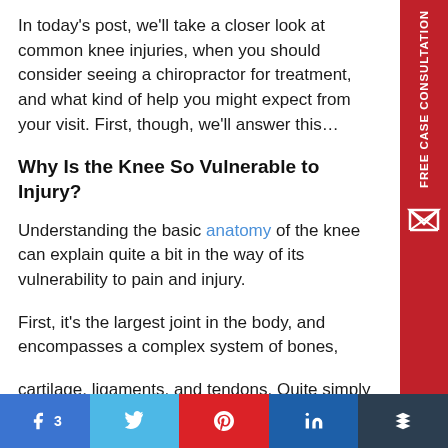In today's post, we'll take a closer look at common knee injuries, when you should consider seeing a chiropractor for treatment, and what kind of help you might expect from your visit. First, though, we'll answer this...
Why Is the Knee So Vulnerable to Injury?
Understanding the basic anatomy of the knee can explain quite a bit in the way of its vulnerability to pain and injury.
First, it's the largest joint in the body, and encompasses a complex system of bones, cartilage, ligaments, and tendons. Quite simply...
[Figure (other): Red vertical sidebar tab with white text reading FREE CASE CONSULTATION and an envelope/X icon below]
Social share bar with Facebook (3), Twitter, Pinterest, LinkedIn, Buffer buttons